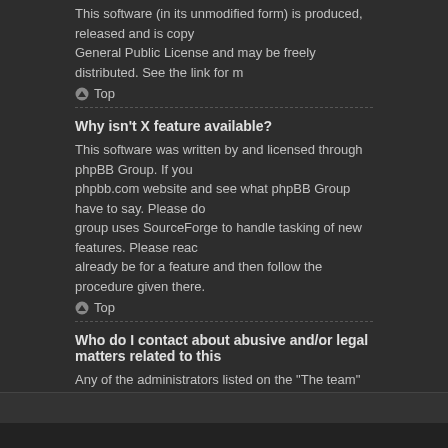This software (in its unmodified form) is produced, released and is copy General Public License and may be freely distributed. See the link for m
▲ Top
Why isn't X feature available?
This software was written by and licensed through phpBB Group. If you phpbb.com website and see what phpBB Group have to say. Please do group uses SourceForge to handle tasking of new features. Please reac already be for a feature and then follow the procedure given there.
▲ Top
Who do I contact about abusive and/or legal matters related to this
Any of the administrators listed on the "The team" page should be an ap no response then you should contact the owner of the domain (do a who free.fr, f2s.com, etc.), the management or abuse department of that serv jurisdiction and cannot in any way be held liable over how, where or by relation to any legal (cease and desist, liable, defamatory comment, etc. the discrete software of phpBB itself. If you do e-mail phpBB Group abo expect a terse response or no response at all.
▲ Top